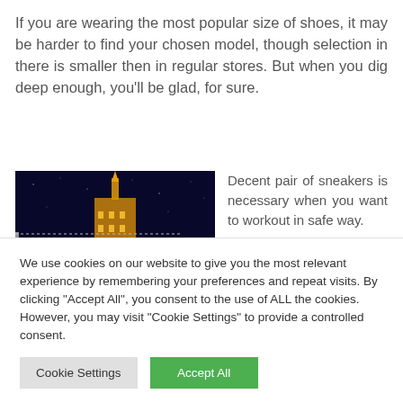If you are wearing the most popular size of shoes, it may be harder to find your chosen model, though selection in there is smaller then in regular stores. But when you dig deep enough, you'll be glad, for sure.
[Figure (photo): Night photo of a tall illuminated building (appears to be a Soviet-era skyscraper) against a dark sky, with a dotted line overlay and logo marks at bottom left.]
Decent pair of sneakers is necessary when you want to workout in safe way.

Unluckily the best models could be costly, but single
We use cookies on our website to give you the most relevant experience by remembering your preferences and repeat visits. By clicking "Accept All", you consent to the use of ALL the cookies. However, you may visit "Cookie Settings" to provide a controlled consent.